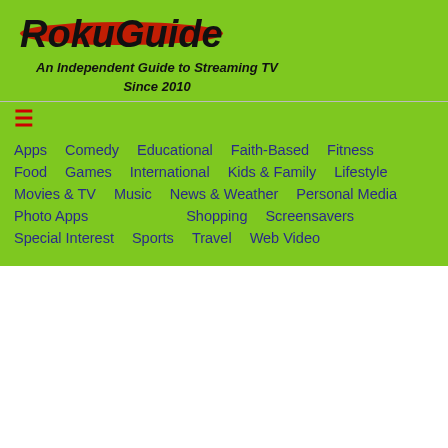RokuGuide
An Independent Guide to Streaming TV Since 2010
≡
Apps  Comedy  Educational  Faith-Based  Fitness
Food  Games  International  Kids & Family  Lifestyle
Movies & TV  Music  News & Weather  Personal Media
Photo Apps  Shopping  Screensavers
Special Interest  Sports  Travel  Web Video